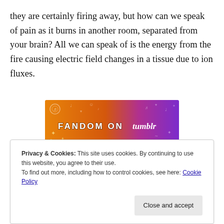they are certainly firing away, but how can we speak of pain as it burns in another room, separated from your brain? All we can speak of is the energy from the fire causing electric field changes in a tissue due to ion fluxes.
[Figure (other): Fandom on Tumblr advertisement banner with orange to purple gradient background and decorative doodle elements]
REPORT THIS AD
Privacy & Cookies: This site uses cookies. By continuing to use this website, you agree to their use.
To find out more, including how to control cookies, see here: Cookie Policy